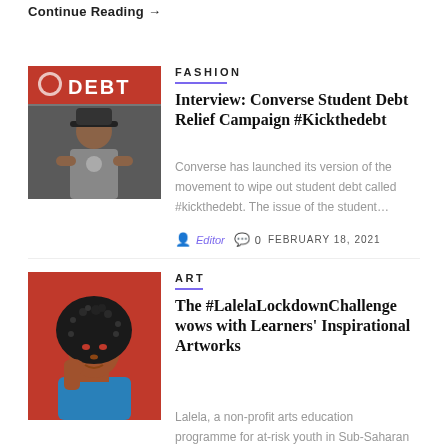Continue Reading →
FASHION
[Figure (photo): Man wearing a bucket hat and Converse t-shirt standing in front of a red wall with the word DEBT]
Interview: Converse Student Debt Relief Campaign #Kickthedebt
Converse has launched its version of the movement to wipe out student debt called #kickthedebt. The issue of the student…
Editor   0   FEBRUARY 18, 2021
ART
[Figure (photo): Colorful illustrated portrait of a woman with large natural hair on a red background, wearing blue]
The #LalelaLockdownChallenge wows with Learners' Inspirational Artworks
Lalela, a non-profit arts education programme for at-risk youth in Sub-Saharan